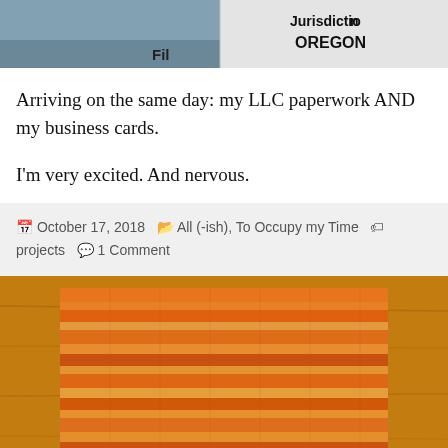[Figure (photo): Partial view of documents/paperwork with text showing 'Fil' on the left and 'Jurisdiction OREGON' on the right side on a card, cropped at the top of the page.]
Arriving on the same day: my LLC paperwork AND my business cards.
I'm very excited. And nervous.
October 17, 2018   All (-ish), To Occupy my Time   projects   1 Comment
[Figure (photo): Close-up photo of an orange and yellow knitted/crocheted fabric swatch on a wooden surface.]